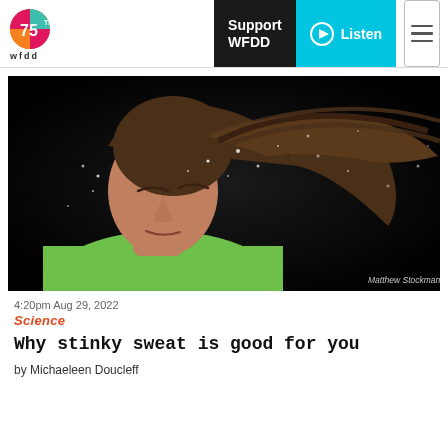WFDD 75th Anniversary | Support WFDD | Listen
[Figure (photo): Athlete shaking sweat from his hair against a dark background, wearing a green shirt. Credit: Matthew Stockman/Getty Images]
4:20pm Aug 29, 2022
Science
Why stinky sweat is good for you
by Michaeleen Doucleff